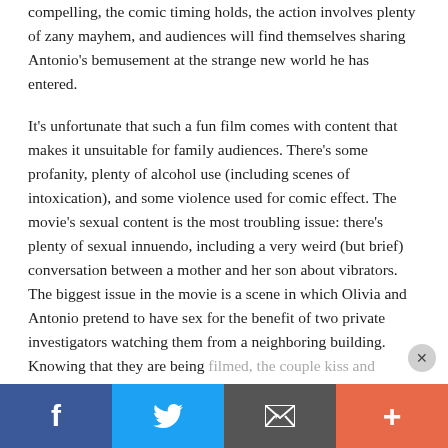compelling, the comic timing holds, the action involves plenty of zany mayhem, and audiences will find themselves sharing Antonio's bemusement at the strange new world he has entered.
It's unfortunate that such a fun film comes with content that makes it unsuitable for family audiences. There's some profanity, plenty of alcohol use (including scenes of intoxication), and some violence used for comic effect. The movie's sexual content is the most troubling issue: there's plenty of sexual innuendo, including a very weird (but brief) conversation between a mother and her son about vibrators. The biggest issue in the movie is a scene in which Olivia and Antonio pretend to have sex for the benefit of two private investigators watching them from a neighboring building. Knowing that they are being filmed, the couple kiss and remove their shirts, before Olivia pushes Antonio on to the bed, at which point he is no longer visible through the window. When he slips out
Facebook | Twitter | Email | More